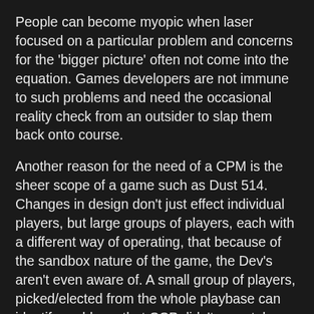People can become myopic when laser focused on a particular problem and concerns for the 'bigger picture' often not come into the equation. Games developers are not immune to such problems and need the occasional reality check from an outsider to slap them back onto course.
Another reason for the need of a CPM is the sheer scope of a game such as Dust 514. Changes in design don't just effect individual players, but large groups of players, each with a different way of operating, that because of the sandbox nature of the game, the Dev's aren't even aware of. A small group of players, picked/elected from the whole playbase can identify problems that CCP didn't even take into consideration. And thats before we even take into account that we are being integrated into an established gameing universe..
Now, I've been chipping away at this blog for a few weeks now and its seems that in the time since Dolan's above post there has been a substantial upsurge in the CCP/CPM relationship. Indeed from his own weekly reports thread in